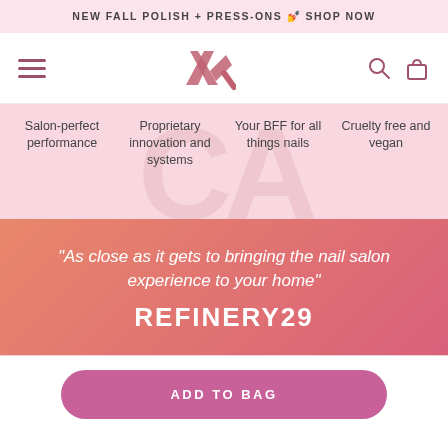NEW FALL POLISH + PRESS-ONS 💅 SHOP NOW
[Figure (screenshot): Navigation bar with hamburger menu icon, brand logo (ampersand-style icon), search icon, and shopping bag icon]
Salon-perfect performance
Proprietary innovation and systems
Your BFF for all things nails
Cruelty free and vegan
"As close as it gets to bringing the nail salon experience to your home"
REFINERY29
ADD TO BAG